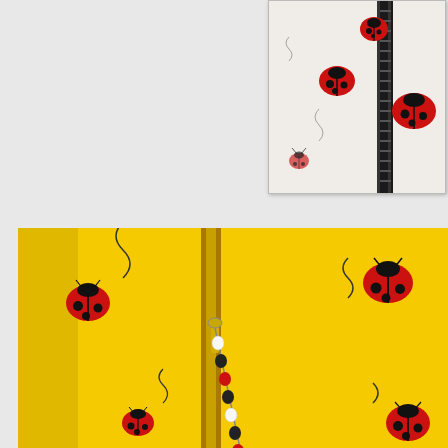[Figure (photo): Close-up photo of ladybug beads and a black zipper pull against a white fabric background with ladybug print.]
[Figure (photo): Photo of a yellow fabric pouch with red ladybug print and a yellow zipper. A beaded zipper pull with red, black, and white beads hangs from the zipper.]
Here are the zipper pulls I made for the pouches :)